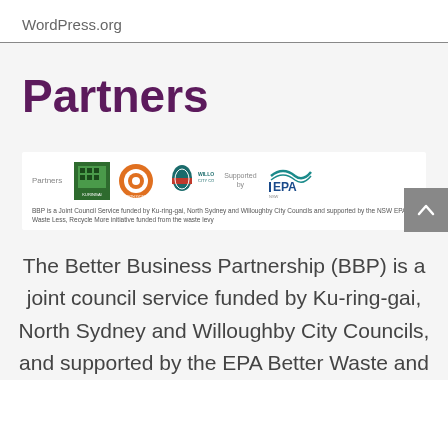WordPress.org
Partners
[Figure (logo): Partners logos row: Ku-ring-gai Council (green logo), North Sydney Council (orange circular logo), Willoughby City Council (teal logo), and Supported by NSW EPA logo (blue/teal)]
BBP is a Joint Council Service funded by Ku-ring-gai, North Sydney and Willoughby City Councils and supported by the NSW EPA Waste Less, Recycle More initiative funded from the waste levy
The Better Business Partnership (BBP) is a joint council service funded by Ku-ring-gai, North Sydney and Willoughby City Councils, and supported by the EPA Better Waste and